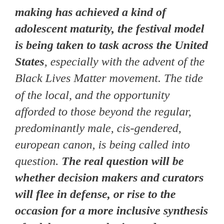making has achieved a kind of adolescent maturity, the festival model is being taken to task across the United States, especially with the advent of the Black Lives Matter movement. The tide of the local, and the opportunity afforded to those beyond the regular, predominantly male, cis-gendered, european canon, is being called into question. The real question will be whether decision makers and curators will flee in defense, or rise to the occasion for a more inclusive synthesis of celebratory aesthetics and international style. The bell curve is achieving its apex, so maybe the mural gold